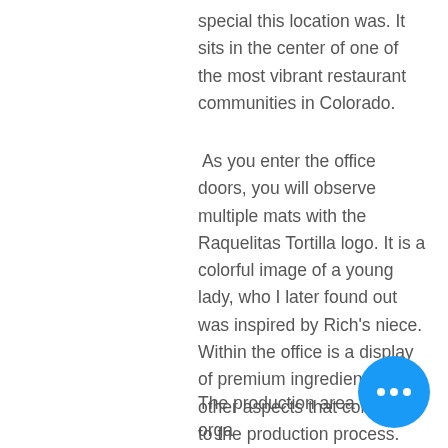special this location was. It sits in the center of one of the most vibrant restaurant communities in Colorado.
As you enter the office doors, you will observe multiple mats with the Raquelitas Tortilla logo. It is a colorful image of a young lady, who I later found out was inspired by Rich's niece. Within the office is a display of premium ingredients and other aspects that contribute to the production process. After a brief overview, we began our walk through the production floor.
The production area was well orga… Each line created a different type of tortilla. There were traditional corn and